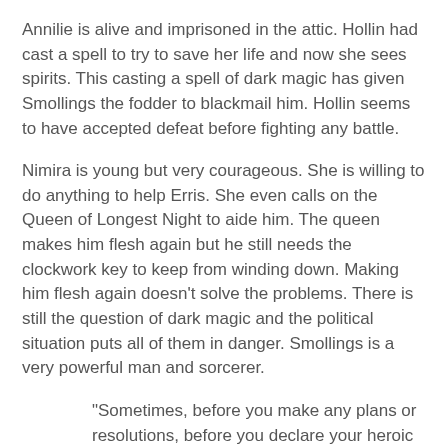Annilie is alive and imprisoned in the attic. Hollin had cast a spell to try to save her life and now she sees spirits. This casting a spell of dark magic has given Smollings the fodder to blackmail him. Hollin seems to have accepted defeat before fighting any battle.
Nimira is young but very courageous. She is willing to do anything to help Erris. She even calls on the Queen of Longest Night to aide him. The queen makes him flesh again but he still needs the clockwork key to keep from winding down. Making him flesh again doesn't solve the problems. There is still the question of dark magic and the political situation puts all of them in danger. Smollings is a very powerful man and sorcerer.
"Sometimes, before you make any plans or resolutions, before you declare your heroic intent to persevere, you just have to cry.
And cry I did."
After Smollings takes Erris away, Nim plans with Hollin and Annilie to fight for justice. It takes all their gifts and courage